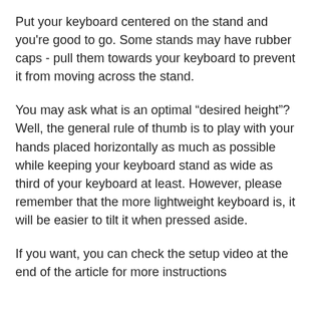Put your keyboard centered on the stand and you're good to go. Some stands may have rubber caps - pull them towards your keyboard to prevent it from moving across the stand.
You may ask what is an optimal “desired height”? Well, the general rule of thumb is to play with your hands placed horizontally as much as possible while keeping your keyboard stand as wide as third of your keyboard at least. However, please remember that the more lightweight keyboard is, it will be easier to tilt it when pressed aside.
If you want, you can check the setup video at the end of the article for more instructions